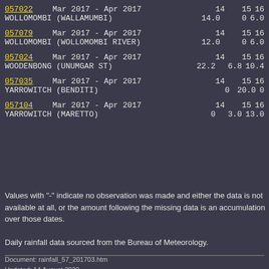| Station | Period | 14 | 15 | 16 |
| --- | --- | --- | --- | --- |
| 057022 | Mar 2017 - Apr 2017 | 14 | 15 | 16 |
| WOLLOMOMBI (WALLAMUMBI) |  | 14.0 | 0 | 6.0 |
| 057079 | Mar 2017 - Apr 2017 | 14 | 15 | 16 |
| WOLLOMOMBI (WOLLOMOMBI RIVER) |  | 12.0 | 0 | 6.0 |
| 057024 | Mar 2017 - Apr 2017 | 14 | 15 | 16 |
| WOODENBONG (UNUMGAR ST) |  | 22.2 | 6.8 | 10.4 |
| 057035 | Mar 2017 - Apr 2017 | 14 | 15 | 16 |
| YARROWITCH (BENDITI) |  | 0 | 20.0 | 0 |
| 057104 | Mar 2017 - Apr 2017 | 14 | 15 | 16 |
| YARROWITCH (MARETTO) |  | 0 | 3.0 | 13.0 |
Values with "-" indicate no observation was made and either the data is not available at all, or the amount following the missing data is an accumulation over those dates.
Daily rainfall data sourced from the Bureau of Meteorology.
Document: rainfall_57_201703.htm
Updated: 14 August 2020
[Australian Severe Weather index] [Copyright Notice] [Email Contacts] [Search This Site]